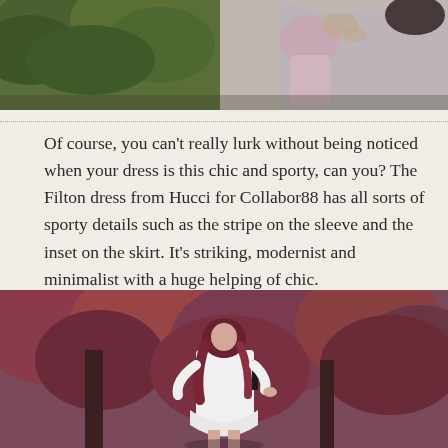[Figure (photo): Top portion of a Sims-style game screenshot showing two characters outdoors near green foliage. One character is dressed in pink.]
Of course, you can't really lurk without being noticed when your dress is this chic and sporty, can you? The Filton dress from Hucci for Collabor88 has all sorts of sporty details such as the stripe on the sleeve and the inset on the skirt. It's striking, modernist and minimalist with a huge helping of chic.
[Figure (photo): A Sims-style game screenshot showing a female character with long red hair in a white sporty dress, standing in front of a red-leaved autumn forest background.]